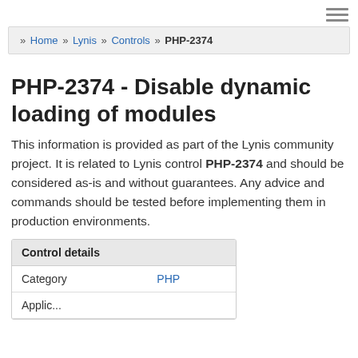≡ (hamburger menu icon)
» Home » Lynis » Controls » PHP-2374
PHP-2374 - Disable dynamic loading of modules
This information is provided as part of the Lynis community project. It is related to Lynis control PHP-2374 and should be considered as-is and without guarantees. Any advice and commands should be tested before implementing them in production environments.
| Control details |  |
| --- | --- |
| Category | PHP |
| Applic... |  |